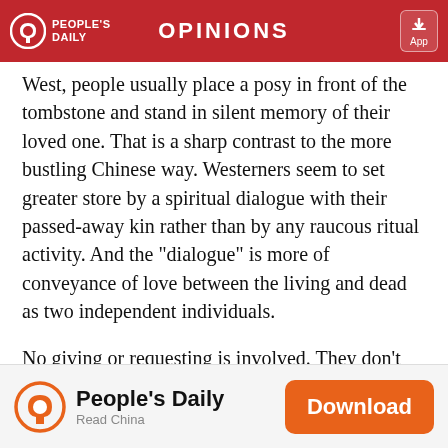OPINIONS
West, people usually place a posy in front of the tombstone and stand in silent memory of their loved one. That is a sharp contrast to the more bustling Chinese way. Westerners seem to set greater store by a spiritual dialogue with their passed-away kin rather than by any raucous ritual activity. And the "dialogue" is more of conveyance of love between the living and dead as two independent individuals.
No giving or requesting is involved. They don't want to disturb the dead. Chinese, however, hope to have their dead loved ones awake – that's why firecrackers are set off – to listen to them. They want the dead ones to know that they are not forgotten, that food and money are